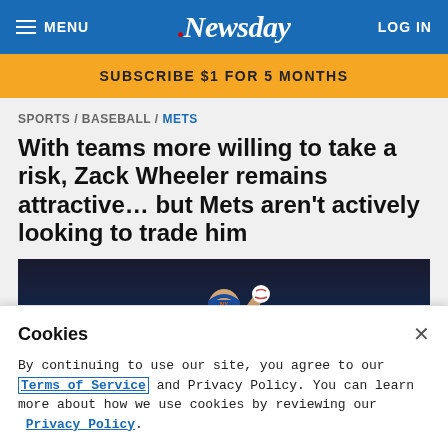MENU | Newsday | LOG IN
SUBSCRIBE $1 FOR 5 MONTHS
SPORTS / BASEBALL / METS
With teams more willing to take a risk, Zack Wheeler remains attractive … but Mets aren't actively looking to trade him
[Figure (photo): Baseball pitcher in blue Mets cap holding a ball, dark background]
Cookies
By continuing to use our site, you agree to our Terms of Service and Privacy Policy. You can learn more about how we use cookies by reviewing our Privacy Policy.